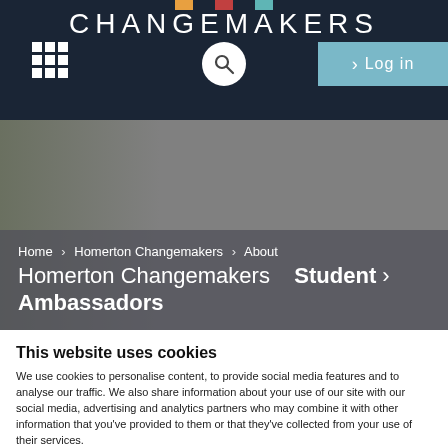CHANGEMAKERS
[Figure (screenshot): Hero banner image showing a person's face partially visible on the left, overlaid with a semi-transparent breadcrumb navigation bar at the bottom reading: Home > Homerton Changemakers > About Homerton Changemakers > Student Ambassadors]
This website uses cookies
We use cookies to personalise content, to provide social media features and to analyse our traffic. We also share information about your use of our site with our social media, advertising and analytics partners who may combine it with other information that you've provided to them or that they've collected from your use of their services.
Use necessary cookies only
Allow all cookies
Show details